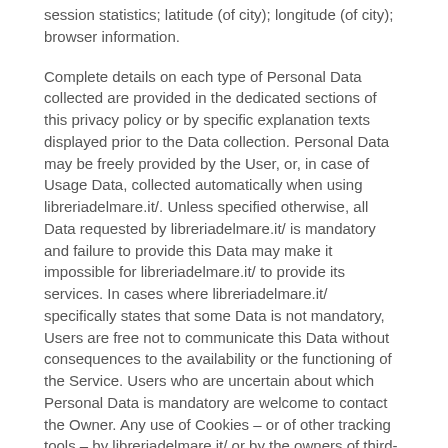session statistics; latitude (of city); longitude (of city); browser information.
Complete details on each type of Personal Data collected are provided in the dedicated sections of this privacy policy or by specific explanation texts displayed prior to the Data collection. Personal Data may be freely provided by the User, or, in case of Usage Data, collected automatically when using libreriadelmare.it/. Unless specified otherwise, all Data requested by libreriadelmare.it/ is mandatory and failure to provide this Data may make it impossible for libreriadelmare.it/ to provide its services. In cases where libreriadelmare.it/ specifically states that some Data is not mandatory, Users are free not to communicate this Data without consequences to the availability or the functioning of the Service. Users who are uncertain about which Personal Data is mandatory are welcome to contact the Owner. Any use of Cookies – or of other tracking tools – by libreriadelmare.it/ or by the owners of third-party services used by libreriadelmare.it/ serves the purpose of providing the Service required by the User, in addition to any other purposes described in the present document and in the Cookie Policy, if available.
Users are responsible for any third-party Personal Data obtained, published or shared through libreriadelmare.it/ and confirm that they have the third party's consent to provide the Data to the Owner.